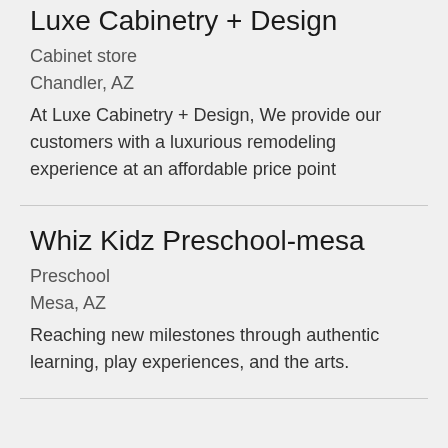Luxe Cabinetry + Design
Cabinet store
Chandler, AZ
At Luxe Cabinetry + Design, We provide our customers with a luxurious remodeling experience at an affordable price point
Whiz Kidz Preschool-mesa
Preschool
Mesa, AZ
Reaching new milestones through authentic learning, play experiences, and the arts.